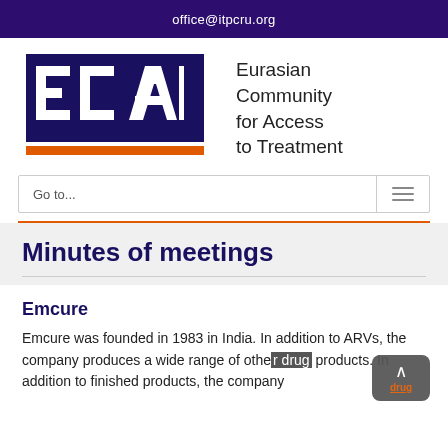office@itpcru.org
[Figure (logo): ECAT logo with Eurasian Community for Access to Treatment text]
Go to...
Minutes of meetings
Emcure
Emcure was founded in 1983 in India. In addition to ARVs, the company produces a wide range of other drug products. In addition to finished products, the company